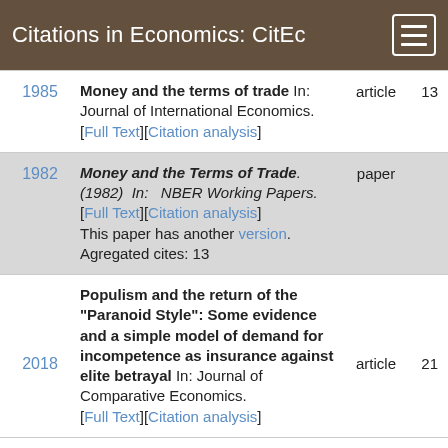Citations in Economics: CitEc
Money and the terms of trade In: Journal of International Economics. [Full Text][Citation analysis] 1985 article 13
Money and the Terms of Trade.(1982) In: NBER Working Papers. [Full Text][Citation analysis] This paper has another version. Agregated cites: 13 1982 paper
Populism and the return of the “Paranoid Style”: Some evidence and a simple model of demand for incompetence as insurance against elite betrayal In: Journal of Comparative Economics. [Full Text][Citation analysis] 2018 article 21